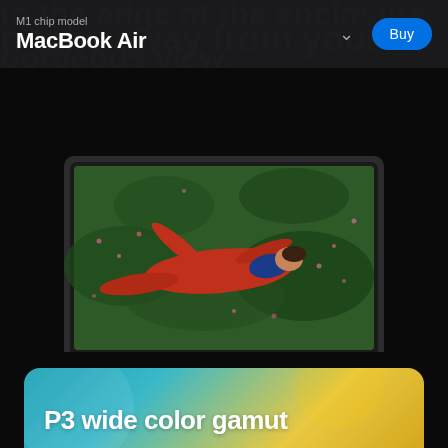M1 chip model
MacBook Air
[Figure (screenshot): Apple MacBook Air product page screenshot showing navigation bar with 'M1 chip model / MacBook Air' label, a dropdown chevron, and blue 'Buy' button on dark background. Below is a MacBook Air laptop displaying a photo of a person in red clothing lying in a green meadow with flowers. At the bottom a card begins showing 'P3 wide color gamut' text.]
P3 wide color gamut